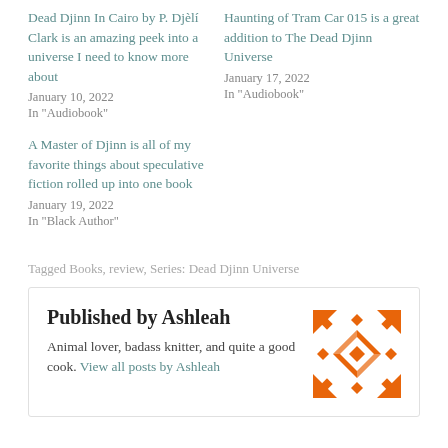Dead Djinn In Cairo by P. Djèlí Clark is an amazing peek into a universe I need to know more about
January 10, 2022
In "Audiobook"
Haunting of Tram Car 015 is a great addition to The Dead Djinn Universe
January 17, 2022
In "Audiobook"
A Master of Djinn is all of my favorite things about speculative fiction rolled up into one book
January 19, 2022
In "Black Author"
Tagged Books, review, Series: Dead Djinn Universe
Published by Ashleah
Animal lover, badass knitter, and quite a good cook. View all posts by Ashleah